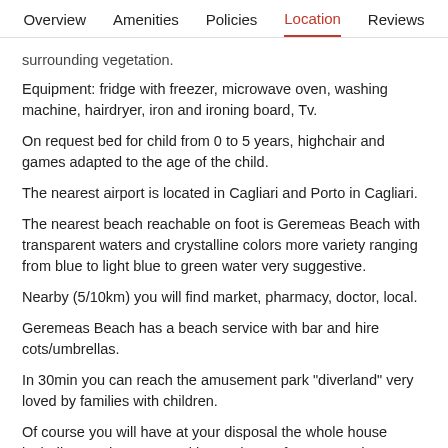Overview   Amenities   Policies   Location   Reviews
surrounding vegetation.
Equipment: fridge with freezer, microwave oven, washing machine, hairdryer, iron and ironing board, Tv.
On request bed for child from 0 to 5 years, highchair and games adapted to the age of the child.
The nearest airport is located in Cagliari and Porto in Cagliari.
The nearest beach reachable on foot is Geremeas Beach with transparent waters and crystalline colors more variety ranging from blue to light blue to green water very suggestive.
Nearby (5/10km) you will find market, pharmacy, doctor, local.
Geremeas Beach has a beach service with bar and hire cots/umbrellas.
In 30min you can reach the amusement park "diverland" very loved by families with children.
Of course you will have at your disposal the whole house including gardens, car parking and use of garage and barbecue for your